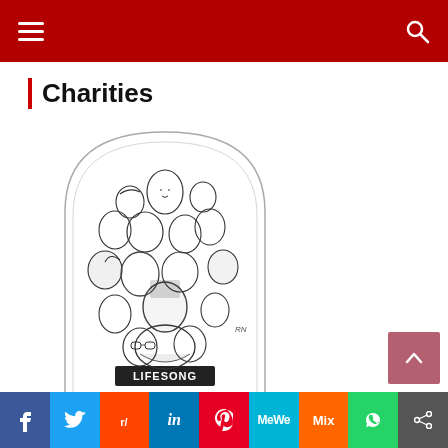Charities
[Figure (illustration): Black and white caricature illustration of many people with text 'LIFESONG' at bottom, inside an arched frame]
AIDS Emergency Fund
AIDS HealthCare
Gay Men's Health Crisis
Help Is On The Way
f  Twitter  Reddit  in  Pinterest  MeWe  Mix  WhatsApp  Share